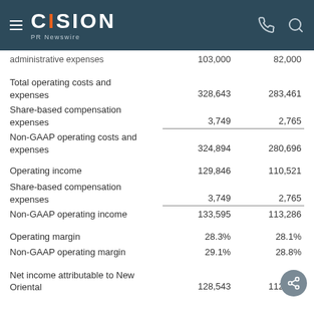CISION PR Newswire
|  | Col1 | Col2 |
| --- | --- | --- |
| administrative expenses | 103,000 | 82,000 |
| Total operating costs and expenses | 328,643 | 283,461 |
| Share-based compensation expenses | 3,749 | 2,765 |
| Non-GAAP operating costs and expenses | 324,894 | 280,696 |
| Operating income | 129,846 | 110,521 |
| Share-based compensation expenses | 3,749 | 2,765 |
| Non-GAAP operating income | 133,595 | 113,286 |
| Operating margin | 28.3% | 28.1% |
| Non-GAAP operating margin | 29.1% | 28.8% |
| Net income attributable to New Oriental | 128,543 | 112,360 |